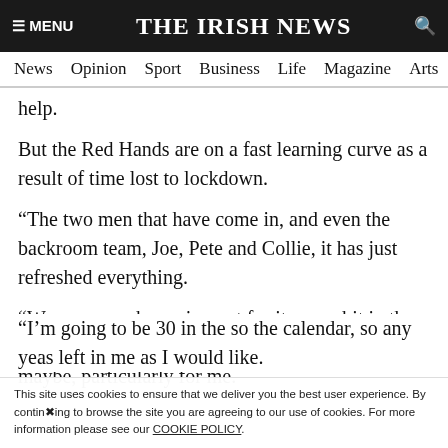≡ MENU   THE IRISH NEWS   🔍
News  Opinion  Sport  Business  Life  Magazine  Arts
help.
But the Red Hands are on a fast learning curve as a result of time lost to lockdown.
“The two men that have come in, and even the backroom team, Joe, Pete and Collie, it has just refreshed everything.
“We were maybe crying out for it a wee bit in the last couple of years, and it has come at a good time maybe, particularly for me.
“I’m going to be 30 in the so the calendar, so any yeas left in me as I would like.
This site uses cookies to ensure that we deliver you the best user experience. By continuing to browse the site you are agreeing to our use of cookies. For more information please see our COOKIE POLICY.